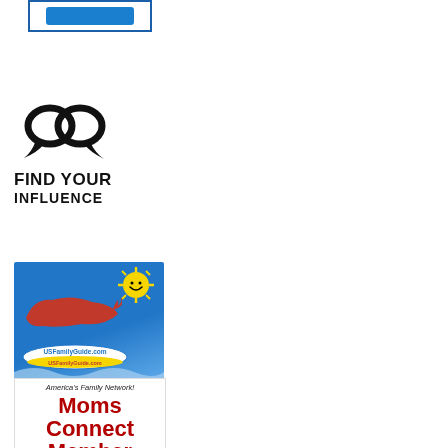[Figure (illustration): Blue-bordered box with a blue button/banner inside, top-left corner of page]
[Figure (logo): Find Your Influence logo: two overlapping speech bubble circles above bold text FIND YOUR INFLUENCE]
[Figure (illustration): USFamilyGuide.com Moms Connect Member badge: blue banner with sun and map graphic, URL badge, America's Family Network tagline, and large red bold text Moms Connect Member, with wave bottom]